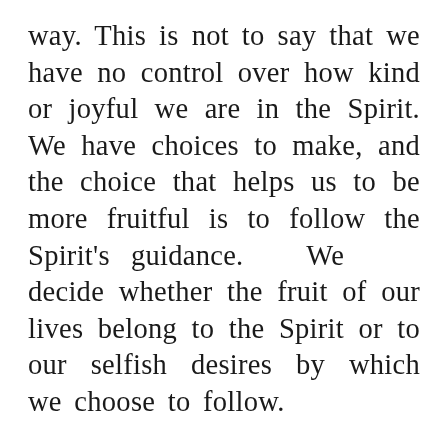way. This is not to say that we have no control over how kind or joyful we are in the Spirit. We have choices to make, and the choice that helps us to be more fruitful is to follow the Spirit's guidance. We decide whether the fruit of our lives belong to the Spirit or to our selfish desires by which we choose to follow.